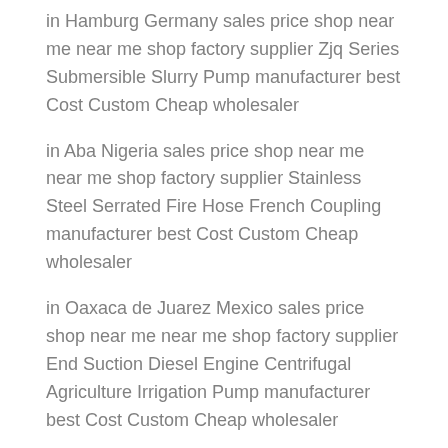in Hamburg Germany sales price shop near me near me shop factory supplier Zjq Series Submersible Slurry Pump manufacturer best Cost Custom Cheap wholesaler
in Aba Nigeria sales price shop near me near me shop factory supplier Stainless Steel Serrated Fire Hose French Coupling manufacturer best Cost Custom Cheap wholesaler
in Oaxaca de Juarez Mexico sales price shop near me near me shop factory supplier End Suction Diesel Engine Centrifugal Agriculture Irrigation Pump manufacturer best Cost Custom Cheap wholesaler
in Ogbomosho Nigeria sales price shop near me near me shop factory supplier Pyramydair Male Foster Quick-Disconnect with 1 8 BSPP Female Threads Stainless Steel for Air Gun Charging 4500psi Machine Parts manufacturer best Cost Custom Cheap wholesaler